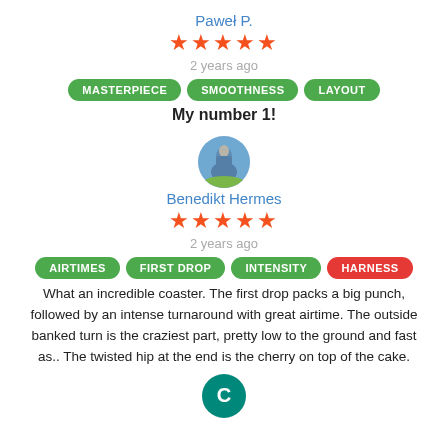Paweł P.
★★★★★
2 years ago
MASTERPIECE
SMOOTHNESS
LAYOUT
My number 1!
[Figure (photo): Circular avatar photo of Benedikt Hermes, showing a person outdoors with blue sky background]
Benedikt Hermes
★★★★★
2 years ago
AIRTIMES
FIRST DROP
INTENSITY
HARNESS
What an incredible coaster. The first drop packs a big punch, followed by an intense turnaround with great airtime. The outside banked turn is the craziest part, pretty low to the ground and fast as.. The twisted hip at the end is the cherry on top of the cake.
[Figure (illustration): Teal circular avatar with letter C]